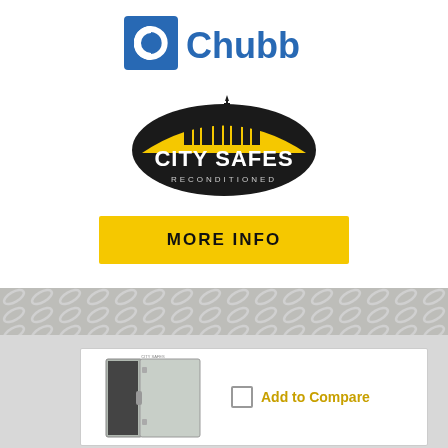[Figure (logo): Chubb logo with blue square C icon and bold blue Chubb text]
[Figure (logo): City Safes Reconditioned logo: black oval with yellow sunrise graphic, silhouette of city skyline, white bold text CITY SAFES and smaller RECONDITIONED below]
MORE INFO
[Figure (photo): Photo of a tall grey metal safe with door open, showing interior. Small City Safes logo on top.]
Add to Compare